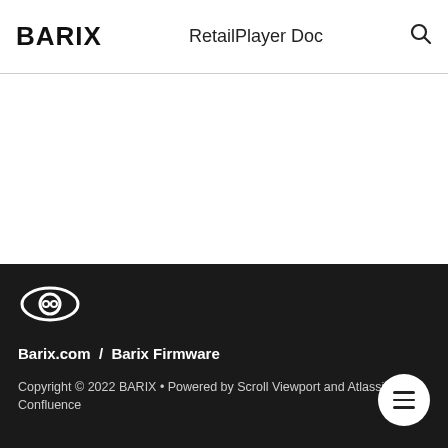BARIX   RetailPlayer Doc
Barix.com / Barix Firmware
Copyright © 2022 BARIX • Powered by Scroll Viewport and Atlassian Confluence